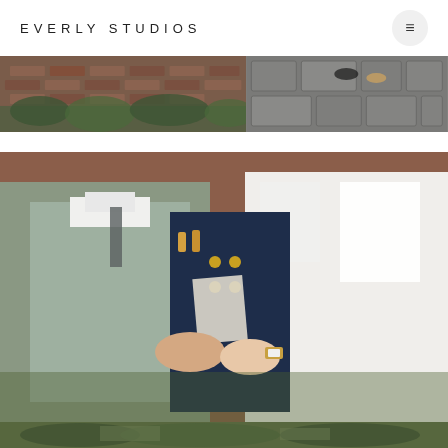EVERLY STUDIOS
[Figure (photo): Two side-by-side photos: left shows a brick building exterior with ivy/greenery; right shows feet/shoes on a stone cobblestone surface]
[Figure (photo): Wedding ceremony photo showing groom in sage/mint suit holding hands with bride in white dress, officiant in navy coat with gold buttons holding papers in background, brick wall setting]
[Figure (photo): Bottom partial image showing outdoor garden or wedding venue scene]